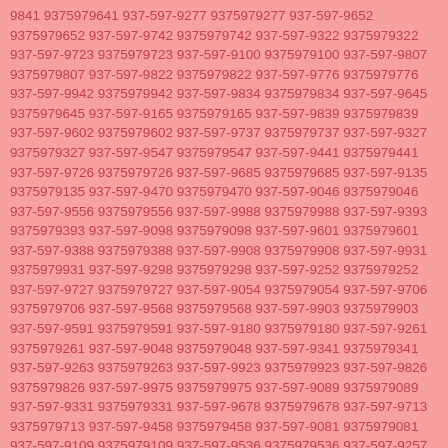9841 9375979641 937-597-9277 9375979277 937-597-9652 9375979652 937-597-9742 9375979742 937-597-9322 9375979322 937-597-9723 9375979723 937-597-9100 9375979100 937-597-9807 9375979807 937-597-9822 9375979822 937-597-9776 9375979776 937-597-9942 9375979942 937-597-9834 9375979834 937-597-9645 9375979645 937-597-9165 9375979165 937-597-9839 9375979839 937-597-9602 9375979602 937-597-9737 9375979737 937-597-9327 9375979327 937-597-9547 9375979547 937-597-9441 9375979441 937-597-9726 9375979726 937-597-9685 9375979685 937-597-9135 9375979135 937-597-9470 9375979470 937-597-9046 9375979046 937-597-9556 9375979556 937-597-9988 9375979988 937-597-9393 9375979393 937-597-9098 9375979098 937-597-9601 9375979601 937-597-9388 9375979388 937-597-9908 9375979908 937-597-9931 9375979931 937-597-9298 9375979298 937-597-9252 9375979252 937-597-9727 9375979727 937-597-9054 9375979054 937-597-9706 9375979706 937-597-9568 9375979568 937-597-9903 9375979903 937-597-9591 9375979591 937-597-9180 9375979180 937-597-9261 9375979261 937-597-9048 9375979048 937-597-9341 9375979341 937-597-9263 9375979263 937-597-9923 9375979923 937-597-9826 9375979826 937-597-9975 9375979975 937-597-9089 9375979089 937-597-9331 9375979331 937-597-9678 9375979678 937-597-9713 9375979713 937-597-9458 9375979458 937-597-9081 9375979081 937-597-9109 9375979109 937-597-9536 9375979536 937-597-9257 9375979257 937-597-9485 9375979485 937-597-9761 9375979761 937-597-9915 9375979915 937-597-9187 9375979187 937-597-9775 9375979775 937-597-